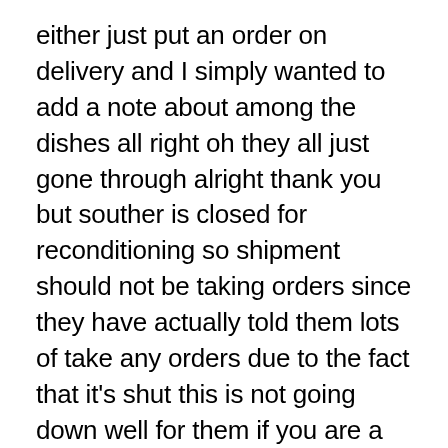either just put an order on delivery and I simply wanted to add a note about among the dishes all right oh they all just gone through alright thank you but souther is closed for reconditioning so shipment should not be taking orders since they have actually told them lots of take any orders due to the fact that it's shut this is not going down well for them if you are a customer calling about an order please press one agent will be with you shortly we're really sorry to keep you waiting please continue to hold each other as formation as in be charged so the order mushroom is done as numerous as you can taking action idea I'm not exactly sure the orders will show in this problem service even it would just go through because they haven't really sent an order you understand